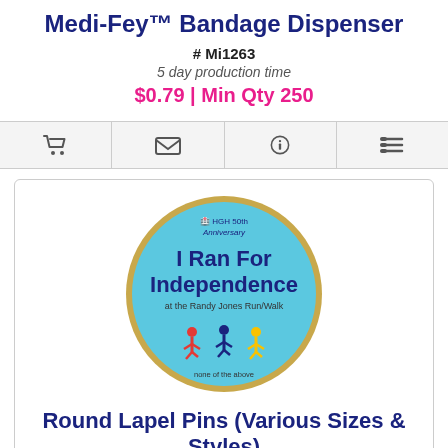Medi-Fey™ Bandage Dispenser
# Mi1263
5 day production time
$0.79 | Min Qty 250
[Figure (infographic): Four icon buttons: shopping cart, envelope, info circle, list/menu]
[Figure (photo): Round lapel pin with light blue background, showing HGH 50th Anniversary logo and text 'I Ran For Independence at the Randy Jones Run/Walk' with colorful runner figures]
Round Lapel Pins (Various Sizes & Styles)